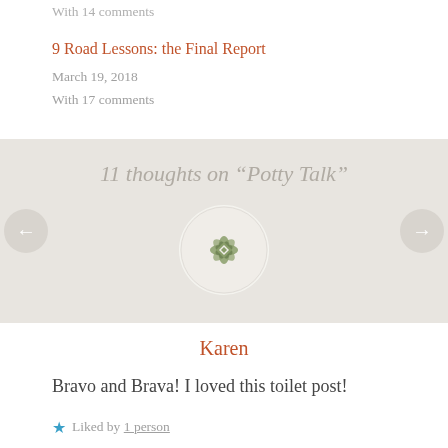With 14 comments
9 Road Lessons: the Final Report
March 19, 2018
With 17 comments
11 thoughts on “Potty Talk”
[Figure (illustration): Circular decorative avatar with geometric quilt-like green and white pattern]
Karen
Bravo and Brava! I loved this toilet post!
Liked by 1 person